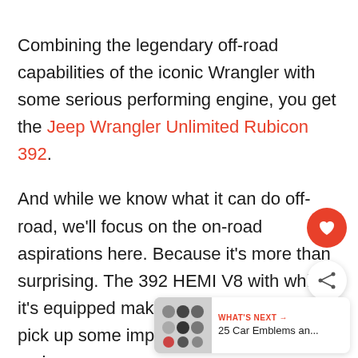Combining the legendary off-road capabilities of the iconic Wrangler with some serious performing engine, you get the Jeep Wrangler Unlimited Rubicon 392.
And while we know what it can do off-road, we'll focus on the on-road aspirations here. Because it's more than surprising. The 392 HEMI V8 with which it's equipped makes the new Wrangler pick up some impressive speed and serious power.